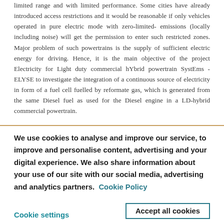limited range and with limited performance. Some cities have already introduced access restrictions and it would be reasonable if only vehicles operated in pure electric mode with zero-limited-emissions (locally including noise) will get the permission to enter such restricted zones. Major problem of such powertrains is the supply of sufficient electric energy for driving. Hence, it is the main objective of the project Electricity for Light duty commercial hYbrid powertrain SystEms - ELYSE to investigate the integration of a continuous source of electricity in form of a fuel cell fuelled by reformate gas, which is generated from the same Diesel fuel as used for the Diesel engine in a LD-hybrid commercial powertrain.
We use cookies to analyse and improve our service, to improve and personalise content, advertising and your digital experience. We also share information about your use of our site with our social media, advertising and analytics partners.  Cookie Policy
Cookie settings
Accept all cookies